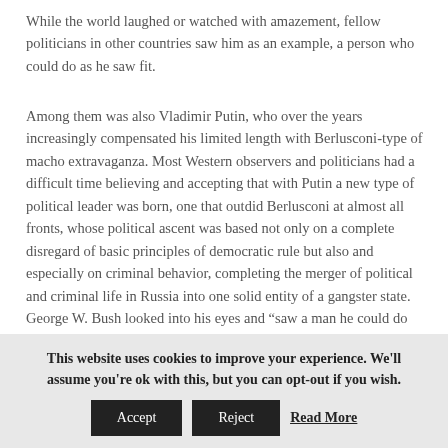While the world laughed or watched with amazement, fellow politicians in other countries saw him as an example, a person who could do as he saw fit.
Among them was also Vladimir Putin, who over the years increasingly compensated his limited length with Berlusconi-type of macho extravaganza. Most Western observers and politicians had a difficult time believing and accepting that with Putin a new type of political leader was born, one that outdid Berlusconi at almost all fronts, whose political ascent was based not only on a complete disregard of basic principles of democratic rule but also and especially on criminal behavior, completing the merger of political and criminal life in Russia into one solid entity of a gangster state. George W. Bush looked into his eyes and “saw a man he could do business with”;other politicians admired the way in which he seemingly ended the
This website uses cookies to improve your experience. We'll assume you're ok with this, but you can opt-out if you wish.